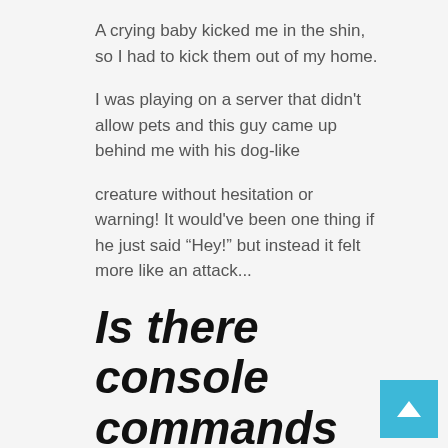A crying baby kicked me in the shin, so I had to kick them out of my home.
I was playing on a server that didn't allow pets and this guy came up behind me with his dog-like
creature without hesitation or warning! It would've been one thing if he just said “Hey!” but instead it felt more like an attack...
Is there console commands for Terraria?
In the world of terraria, there is no vanilla item spawn command. Instead players must work with